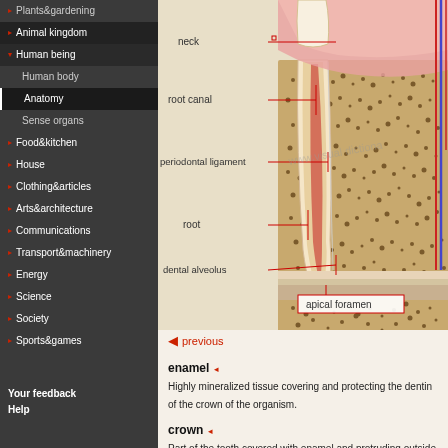Plants & gardening
Animal kingdom
Human being
Human body
Anatomy
Sense organs
Food & kitchen
House
Clothing & articles
Arts & architecture
Communications
Transport & machinery
Energy
Science
Society
Sports & games
Your feedback
Help
[Figure (illustration): Anatomical cross-section diagram of a human tooth and surrounding structures. Labels indicate: neck, root canal, periodontal ligament, root, dental alveolus, apical foramen. The diagram shows layers including enamel, dentin, pulp, cementum, and bone tissue with red annotation lines.]
previous
enamel
crown
neck
cementum